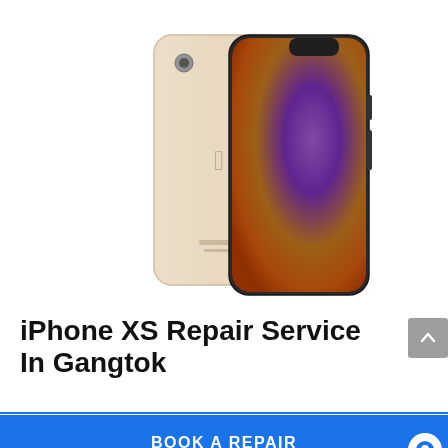[Figure (photo): Two iPhone XS models shown back-to-back: one showing the gold/champagne back with Apple logo, and one showing the front display with a colorful abstract wallpaper. The front phone is angled and slightly blurred/darker.]
iPhone XS Repair Service In Gangtok
BOOK A REPAIR